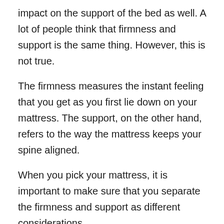impact on the support of the bed as well. A lot of people think that firmness and support is the same thing. However, this is not true.
The firmness measures the instant feeling that you get as you first lie down on your mattress. The support, on the other hand, refers to the way the mattress keeps your spine aligned.
When you pick your mattress, it is important to make sure that you separate the firmness and support as different considerations.
The firmness is just the way your bed feels.
Choosing a Mattress